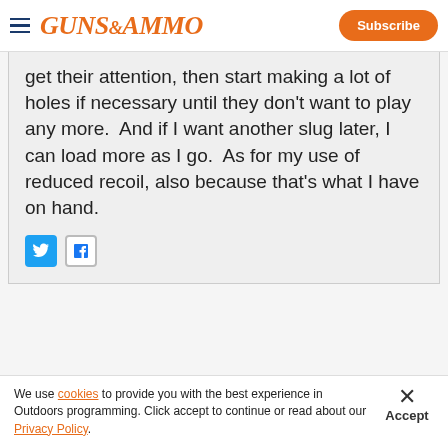GUNS&AMMO | Subscribe
get their attention, then start making a lot of holes if necessary until they don't want to play any more.  And if I want another slug later, I can load more as I go.  As for my use of reduced recoil, also because that's what I have on hand.
[Figure (other): Twitter and Facebook social share icons]
Advertisement
[Figure (photo): Advertisement image showing person with rifle, partially visible with TIPTON text]
We use cookies to provide you with the best experience in Outdoors programming. Click accept to continue or read about our Privacy Policy.